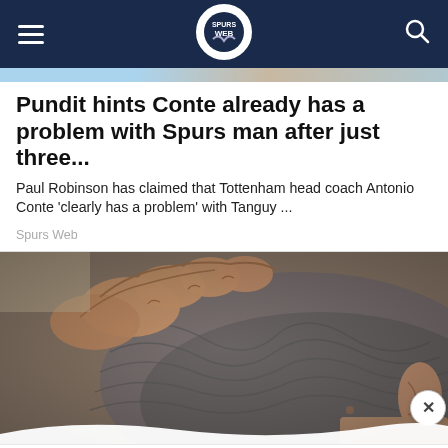Spurs Web navigation bar with logo
Pundit hints Conte already has a problem with Spurs man after just three...
Paul Robinson has claimed that Tottenham head coach Antonio Conte 'clearly has a problem' with Tanguy ...
Spurs Web
[Figure (photo): Close-up photo of hands touching the back of a man's grey-haired head/neck]
Leesburg OPEN 10AM–9PM 241 Fort Evans Rd NE, Leesburg